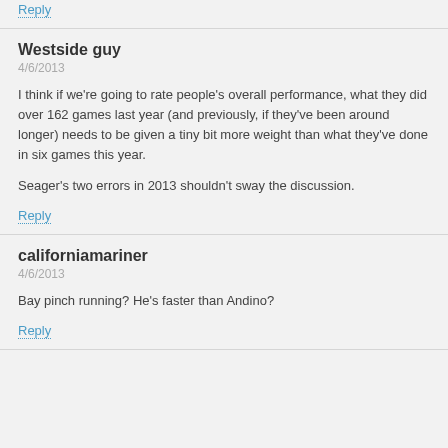Reply
Westside guy
4/6/2013
I think if we're going to rate people's overall performance, what they did over 162 games last year (and previously, if they've been around longer) needs to be given a tiny bit more weight than what they've done in six games this year.
Seager's two errors in 2013 shouldn't sway the discussion.
Reply
californiamariner
4/6/2013
Bay pinch running? He's faster than Andino?
Reply